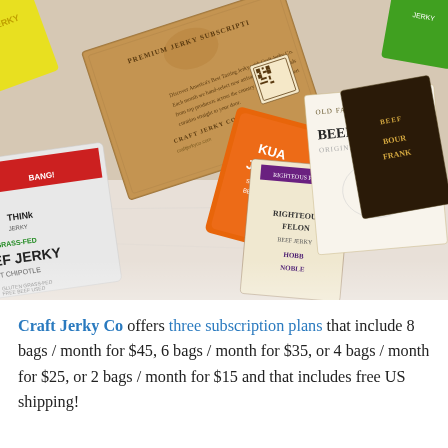[Figure (photo): Overhead photo of a Craft Jerky Co. premium jerky subscription box surrounded by multiple jerky brand packages including Think Jerky Grass-Fed Beef Jerky Chipotle, Kua Jerky Sweet Barbeque Beef, Righteous Felon Beef Jerky, Old Fashioned Beef Jerky Original, and Bourbon Frank products on a light marble surface.]
Craft Jerky Co offers three subscription plans that include 8 bags / month for $45, 6 bags / month for $35, or 4 bags / month for $25, or 2 bags / month for $15 and that includes free US shipping!